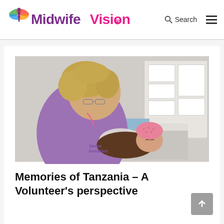Midwife Vision
[Figure (photo): A nurse assistant wearing purple scrubs and medical gloves holds a newborn baby wrapped in a dark patterned blanket and wearing a pink knitted hat. She is leaning in to look at the baby in what appears to be a clinical setting with charts on the wall behind her.]
Memories of Tanzania – A Volunteer's perspective